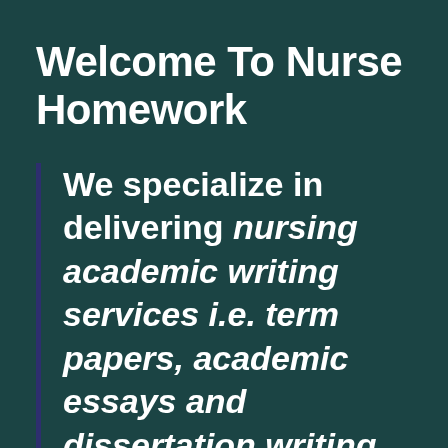Welcome To Nurse Homework
We specialize in delivering nursing academic writing services i.e. term papers, academic essays and dissertation writing